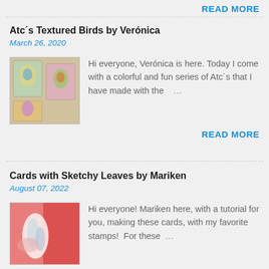READ MORE
Atc´s Textured Birds by Verónica
March 26, 2020
[Figure (photo): Photo of colorful ATC bird cards on a wooden surface with watercolors]
Hi everyone, Verónica is here. Today I come with a colorful and fun series of Atc´s that I have made with the …
READ MORE
Cards with Sketchy Leaves by Mariken
August 07, 2022
[Figure (photo): Photo of a card with butterfly and floral design on pink and red background]
Hi everyone! Mariken here, with a tutorial for you, making these cards, with my favorite stamps!  For these …